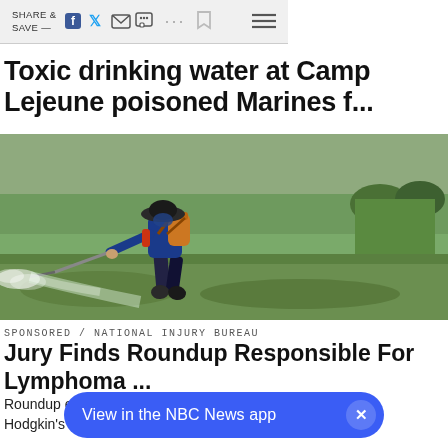SHARE & SAVE —  [social icons]  ⋯  🔖  ≡
Toxic drinking water at Camp Lejeune poisoned Marines f...
[Figure (photo): A farmer wearing a hat and blue long-sleeve shirt sprays pesticide in a green rice field using a backpack sprayer, with mist visible from the nozzle.]
SPONSORED / NATIONAL INJURY BUREAU
Jury Finds Roundup Responsible For Lymphoma ...
Roundup exposure linked to Non-Hodgkin's
View in the NBC News app  ×